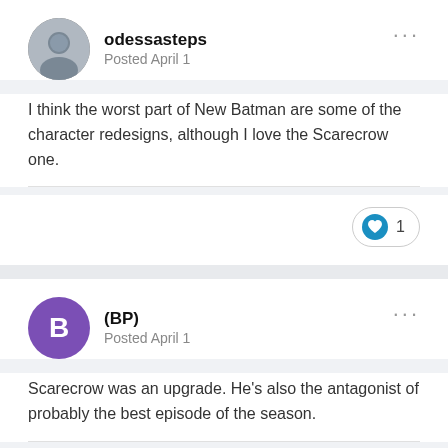odessasteps
Posted April 1
I think the worst part of New Batman are some of the character redesigns, although I love the Scarecrow one.
♥ 1
(BP)
Posted April 1
Scarecrow was an upgrade. He's also the antagonist of probably the best episode of the season.
♥ 1